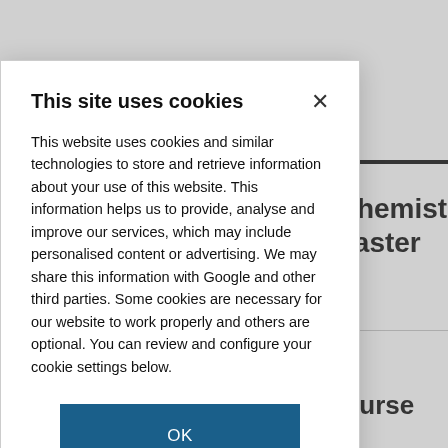nto chemistry ess faster
on course
This site uses cookies
This website uses cookies and similar technologies to store and retrieve information about your use of this website. This information helps us to provide, analyse and improve our services, which may include personalised content or advertising. We may share this information with Google and other third parties. Some cookies are necessary for our website to work properly and others are optional. You can review and configure your cookie settings below.
OK
COOKIE SETTINGS